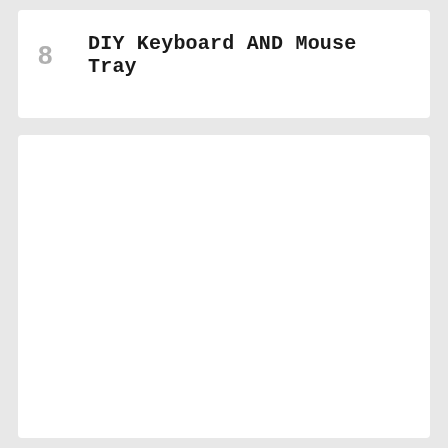8 DIY Keyboard AND Mouse Tray
[Figure (other): Large white empty card/panel below the list item, appears to be a placeholder or image area]